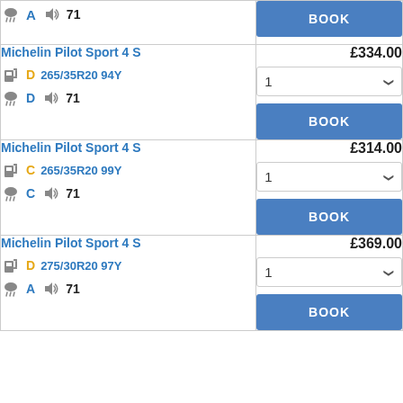| Tyre Details | Price / Action |
| --- | --- |
| [icons] A 71 | BOOK |
| Michelin Pilot Sport 4 S
[fuel D] D 265/35R20 94Y
[rain D] D [noise] 71 | £334.00
1
BOOK |
| Michelin Pilot Sport 4 S
[fuel C] C 265/35R20 99Y
[rain C] C [noise] 71 | £314.00
1
BOOK |
| Michelin Pilot Sport 4 S
[fuel D] D 275/30R20 97Y
[rain A] A [noise] 71 | £369.00
1
BOOK |